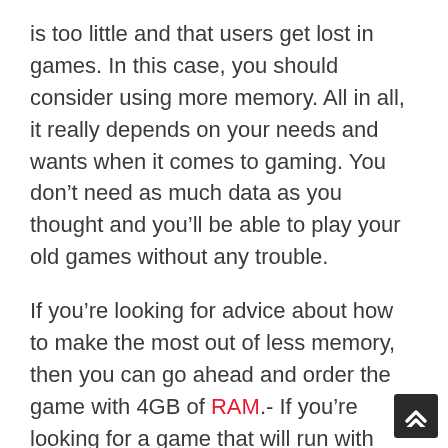is too little and that users get lost in games. In this case, you should consider using more memory. All in all, it really depends on your needs and wants when it comes to gaming. You don’t need as much data as you thought and you’ll be able to play your old games without any trouble.
If you’re looking for advice about how to make the most out of less memory, then you can go ahead and order the game with 4GB of RAM.- If you’re looking for a game that will run with 6GB of RAM or more, then you should think about ordering the game with 8GB of RAM.”